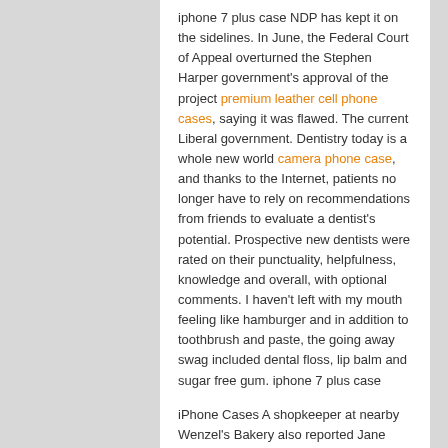iphone 7 plus case NDP has kept it on the sidelines. In June, the Federal Court of Appeal overturned the Stephen Harper government's approval of the project premium leather cell phone cases, saying it was flawed. The current Liberal government. Dentistry today is a whole new world camera phone case, and thanks to the Internet, patients no longer have to rely on recommendations from friends to evaluate a dentist's potential. Prospective new dentists were rated on their punctuality, helpfulness, knowledge and overall, with optional comments. I haven't left with my mouth feeling like hamburger and in addition to toothbrush and paste, the going away swag included dental floss, lip balm and sugar free gum. iphone 7 plus case
iPhone Cases A shopkeeper at nearby Wenzel's Bakery also reported Jane Beaumont had bought pasties and a meat pie with a 1 note.[12] Police viewed this as further evidence that they had been with another person, for two reasons: the shopkeeper knew the children well from previous visits and reported that they had